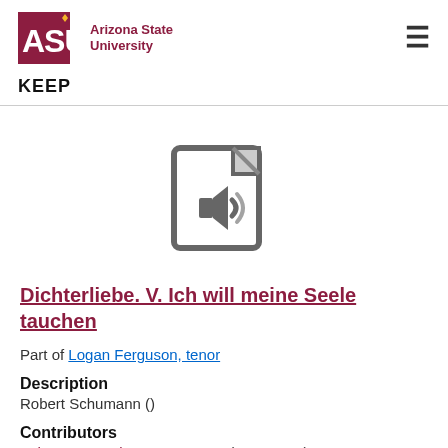[Figure (logo): Arizona State University logo with ASU text in maroon and wordmark 'Arizona State University']
KEEP
[Figure (illustration): Audio file icon - document with speaker/sound symbol in gray]
Dichterliebe. V. Ich will meine Seele tauchen
Part of Logan Ferguson, tenor
Description
Robert Schumann ()
Contributors
Schumann, Robert, 1810-1856 (Composer)